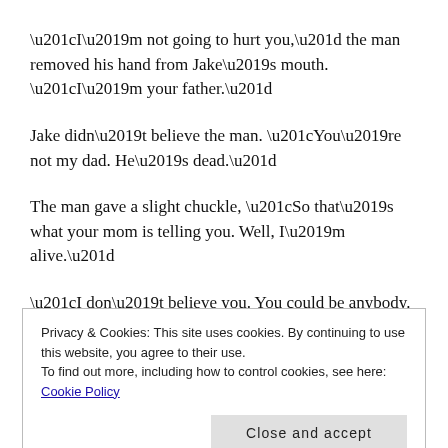“I’m not going to hurt you,” the man removed his hand from Jake’s mouth. “I’m your father.”
Jake didn’t believe the man. “You’re not my dad. He’s dead.”
The man gave a slight chuckle, “So that’s what your mom is telling you. Well, I’m alive.”
“I don’t believe you. You could be anybody. Show me some proof.” Jake folded his arms, staring at the man as if a
Privacy & Cookies: This site uses cookies. By continuing to use this website, you agree to their use.
To find out more, including how to control cookies, see here: Cookie Policy
Close and accept